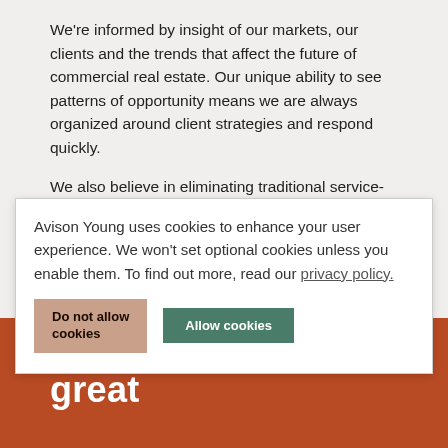We're informed by insight of our markets, our clients and the trends that affect the future of commercial real estate. Our unique ability to see patterns of opportunity means we are always organized around client strategies and respond quickly.
We also believe in eliminating traditional service-line silos, for less barriers to service and more integrated solution work. Discover what it’s like to collaborate with a truly aligned team built around one singular mission: creating value for our clients and partners.
Grow your career
Avison Young uses cookies to enhance your user experience. We won't set optional cookies unless you enable them. To find out more, read our privacy policy.
Do not allow cookies | Allow cookies
"I am working within a culture that not only promotes great